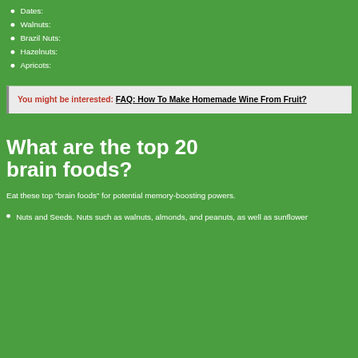Dates:
Walnuts:
Brazil Nuts:
Hazelnuts:
Apricots:
You might be interested: FAQ: How To Make Homemade Wine From Fruit?
What are the top 20 brain foods?
Eat these top “brain foods” for potential memory-boosting powers.
Nuts and Seeds. Nuts such as walnuts, almonds, and peanuts, as well as sunflower